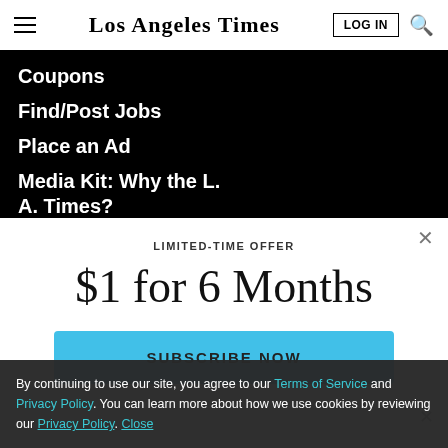Los Angeles Times
Coupons
Find/Post Jobs
Place an Ad
Media Kit: Why the L.A. Times?
Bestcovery
LIMITED-TIME OFFER
$1 for 6 Months
SUBSCRIBE NOW
By continuing to use our site, you agree to our Terms of Service and Privacy Policy. You can learn more about how we use cookies by reviewing our Privacy Policy. Close